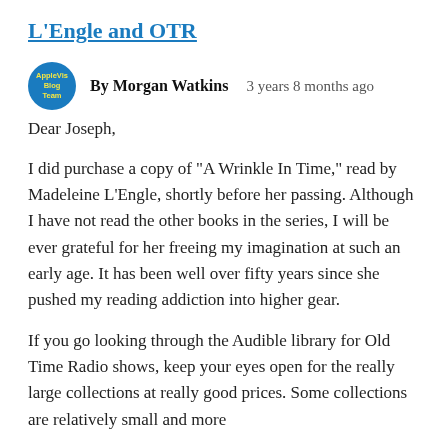L'Engle and OTR
By Morgan Watkins    3 years 8 months ago
Dear Joseph,
I did purchase a copy of "A Wrinkle In Time," read by Madeleine L'Engle, shortly before her passing. Although I have not read the other books in the series, I will be ever grateful for her freeing my imagination at such an early age. It has been well over fifty years since she pushed my reading addiction into higher gear.
If you go looking through the Audible library for Old Time Radio shows, keep your eyes open for the really large collections at really good prices. Some collections are relatively small and more